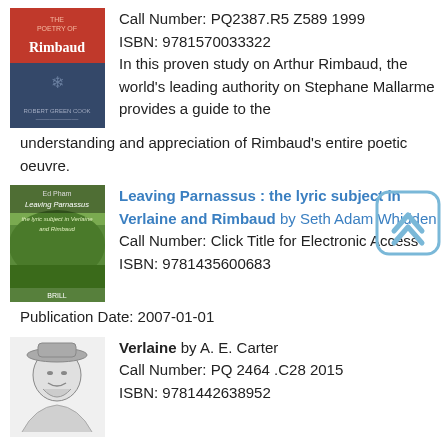[Figure (illustration): Book cover for The Poetry of Rimbaud - red and blue cover]
Call Number: PQ2387.R5 Z589 1999
ISBN: 9781570033322
In this proven study on Arthur Rimbaud, the world's leading authority on Stephane Mallarme provides a guide to the understanding and appreciation of Rimbaud's entire poetic oeuvre.
[Figure (illustration): Book cover for Leaving Parnassus - green landscape cover]
Leaving Parnassus : the lyric subject in Verlaine and Rimbaud by Seth Adam Whidden
Call Number: Click Title for Electronic Access
ISBN: 9781435600683
Publication Date: 2007-01-01
[Figure (illustration): Book cover for Verlaine - sketch portrait of a man with hat]
Verlaine by A. E. Carter
Call Number: PQ 2464 .C28 2015
ISBN: 9781442638952